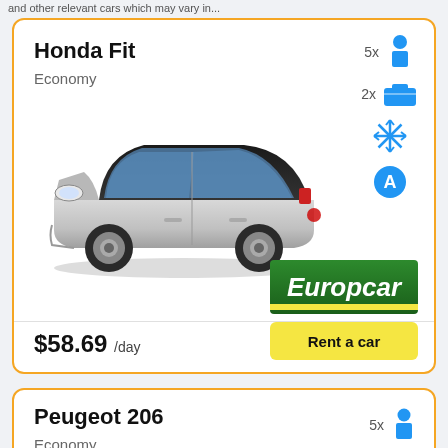and other relevant cars which may vary in...
Honda Fit
Economy
[Figure (illustration): Silver Honda Fit compact car, 3/4 front view]
[Figure (logo): Europcar rental car company logo, green background with yellow underline]
$58.69 /day
Rent a car
Peugeot 206
Economy